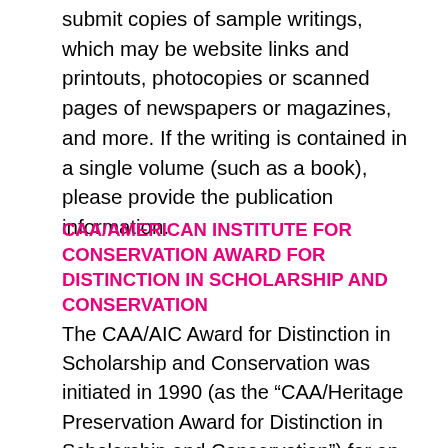submit copies of sample writings, which may be website links and printouts, photocopies or scanned pages of newspapers or magazines, and more. If the writing is contained in a single volume (such as a book), please provide the publication information.
CAA/AMERICAN INSTITUTE FOR CONSERVATION AWARD FOR DISTINCTION IN SCHOLARSHIP AND CONSERVATION
The CAA/AIC Award for Distinction in Scholarship and Conservation was initiated in 1990 (as the “CAA/Heritage Preservation Award for Distinction in Scholarship and Conservation”) for an outstanding contribution by one or more persons who have enhanced understanding of art through the